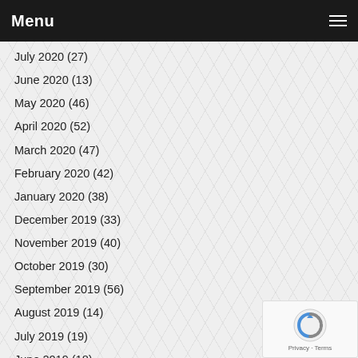Menu
July 2020 (27)
June 2020 (13)
May 2020 (46)
April 2020 (52)
March 2020 (47)
February 2020 (42)
January 2020 (38)
December 2019 (33)
November 2019 (40)
October 2019 (30)
September 2019 (56)
August 2019 (14)
July 2019 (19)
June 2019 (18)
May 2019 (38)
April 2019 (44)